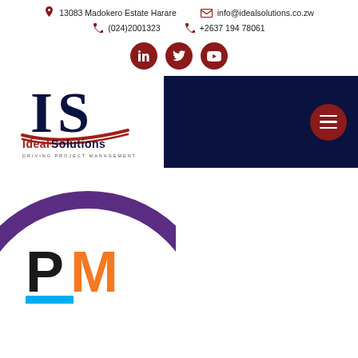13083 Madokero Estate Harare | info@idealsolutions.co.zw | (024)2001323 | +2637 194 78061
[Figure (logo): Social media icons row: LinkedIn, Twitter, YouTube — dark red circles]
[Figure (logo): Ideal Solutions logo with IS monogram in navy and red, tagline DRIVING PROJECT MANAGEMENT, on dark navy navigation bar with hamburger menu button]
[Figure (logo): PMI logo partial circle with purple ring visible at bottom of page]